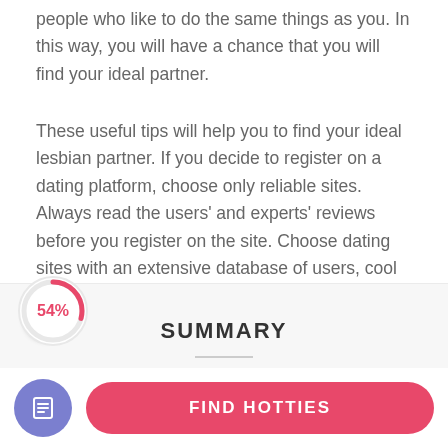people who like to do the same things as you. In this way, you will have a chance that you will find your ideal partner.
These useful tips will help you to find your ideal lesbian partner. If you decide to register on a dating platform, choose only reliable sites. Always read the users' and experts' reviews before you register on the site. Choose dating sites with an extensive database of users, cool features, and safe services. To see what safety measures are provided by the website, skip to its Privacy Policy page.
SUMMARY
[Figure (infographic): A circular progress indicator showing 54% in pink/red color on a white circle background]
[Figure (infographic): A pink/red rounded rectangle button labeled FIND HOTTIES with a purple circular icon button with a document/list icon on the left]